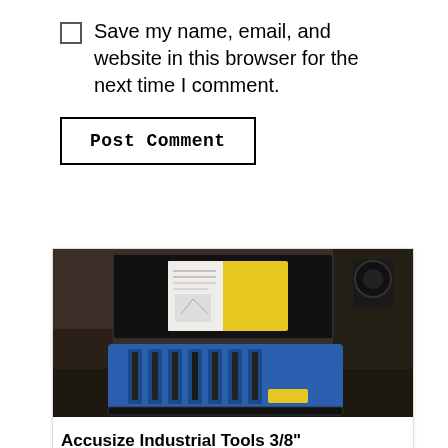Save my name, email, and website in this browser for the next time I comment.
Post Comment
[Figure (photo): Photo of an Accusize Industrial Tools lathe tool set in a blue foam case with a black lid open, placed on a metal lathe machine. A yellow instruction card is visible inside the lid.]
Accusize Industrial Tools 3/8”